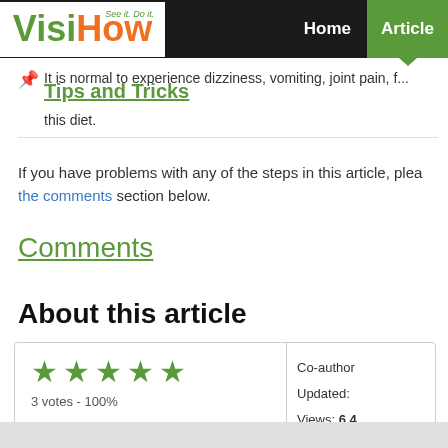VisiHow — See it. Do it. | Home | Articles
Tips and Tricks
It is normal to experience dizziness, vomiting, joint pain, f... this diet.
If you have problems with any of the steps in this article, please the comments section below.
Comments
About this article
| Rating | Meta |
| --- | --- |
| ★★★★★
3 votes - 100% | Co-author
Updated:
Views: 6,4... |